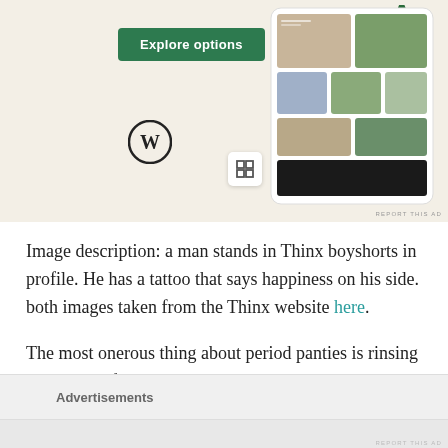[Figure (screenshot): Advertisement banner with beige/cream background showing WordPress logo, a Squarespace icon, an 'Explore options' green button, and a phone mockup displaying a food/blog website grid layout.]
REPORT THIS AD
Image description: a man stands in Thinx boyshorts in profile. He has a tattoo that says happiness on his side. both images taken from the Thinx website here.
The most onerous thing about period panties is rinsing them out before washing them which
Advertisements
REPORT THIS AD